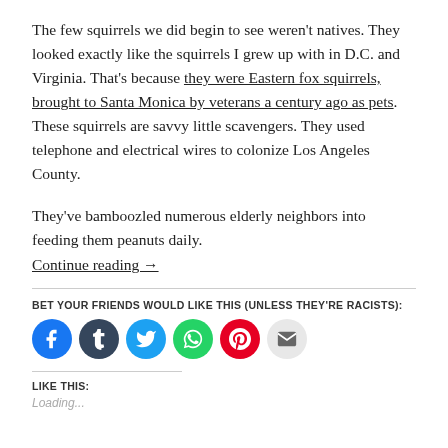The few squirrels we did begin to see weren't natives. They looked exactly like the squirrels I grew up with in D.C. and Virginia. That's because they were Eastern fox squirrels, brought to Santa Monica by veterans a century ago as pets. These squirrels are savvy little scavengers. They used telephone and electrical wires to colonize Los Angeles County.
They've bamboozled numerous elderly neighbors into feeding them peanuts daily.
Continue reading →
BET YOUR FRIENDS WOULD LIKE THIS (UNLESS THEY'RE RACISTS):
[Figure (infographic): Row of six circular social share buttons: Facebook (blue), Tumblr (dark navy), Twitter (light blue), WhatsApp (green), Pinterest (red), Email (light gray)]
LIKE THIS:
Loading...